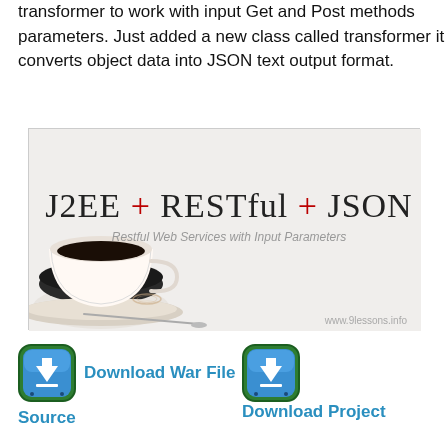transformer to work with input Get and Post methods parameters. Just added a new class called transformer it converts object data into JSON text output format.
[Figure (illustration): Banner image showing 'J2EE + RESTful + JSON' with subtitle 'Restful Web Services with Input Parameters' and a coffee cup image. Watermark: www.9lessons.info]
Download War File
Download Project Source